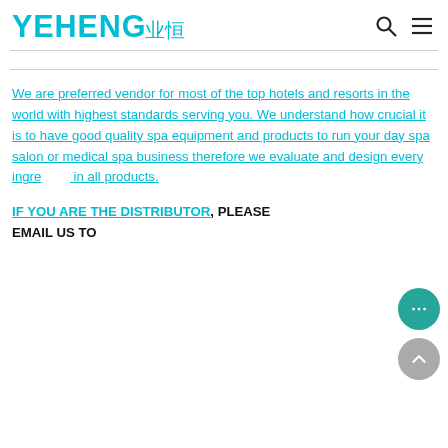YEHENG 业恒
We are preferred vendor for most of the top hotels and resorts in the world with highest standards serving you. We understand how crucial it is to have good quality spa equipment and products to run your day spa salon or medical spa business therefore we evaluate and design every ingredient in all products.
IF YOU ARE THE DISTRIBUTOR, PLEASE EMAIL US TO